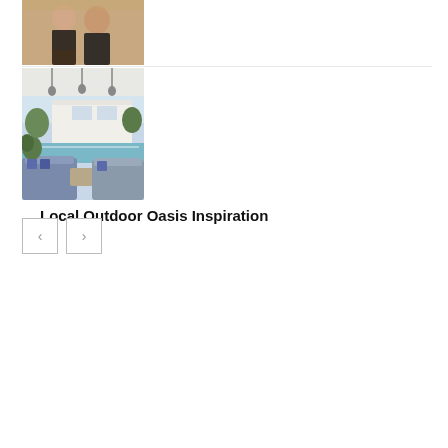[Figure (photo): Cropped photo of a man and woman smiling, partial view of faces and torso, indoor setting]
[Figure (photo): Outdoor patio/living room with pool, white stone structure, pendant lights, lounge furniture, lush landscaping]
Local Outdoor Oasis Inspiration
[Figure (other): Navigation previous and next arrow buttons]